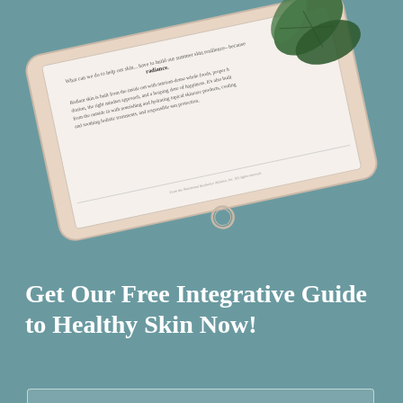[Figure (illustration): A tablet device displayed at an angle showing a skincare guide document with green botanical leaves overlapping the top-right corner of the tablet. The tablet screen shows text about radiant skin and building summer skin resilience.]
Get Our Free Integrative Guide to Healthy Skin Now!
Your Name
Your Best Email Address
Please confirm that you are human*
[Figure (screenshot): reCAPTCHA widget showing a checkbox with 'I'm not a robot' text and the reCAPTCHA logo]